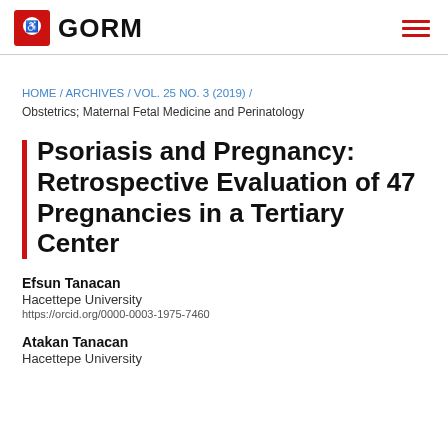GORM
HOME / ARCHIVES / VOL. 25 NO. 3 (2019) / Obstetrics; Maternal Fetal Medicine and Perinatology
Psoriasis and Pregnancy: Retrospective Evaluation of 47 Pregnancies in a Tertiary Center
Efsun Tanacan
Hacettepe University
https://orcid.org/0000-0003-1975-7460
Atakan Tanacan
Hacettepe University